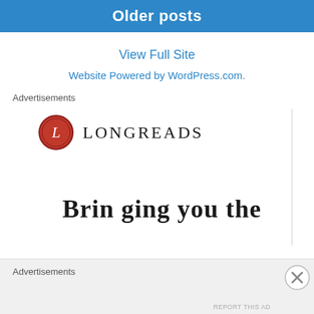Older posts
View Full Site
Website Powered by WordPress.com.
Advertisements
[Figure (logo): Longreads logo: red circle with white letter L, followed by text LONGREADS in serif font]
Brin ging you the
Advertisements